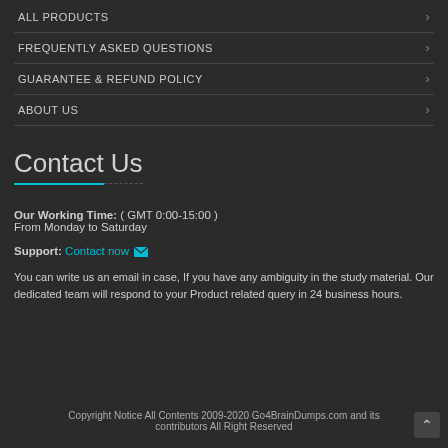ALL PRODUCTS
FREQUENTLY ASKED QUESTIONS
GUARANTEE & REFUND POLICY
ABOUT US
Contact Us
Our Working Time: ( GMT 0:00-15:00 )
From Monday to Saturday
Support: Contact now
You can write us an email in case, If you have any ambiguity in the study material. Our dedicated team will respond to your Product related query in 24 business hours.
Copyright Notice All Contents 2009-2020 Go4BrainDumps.com and its contributors All Right Reserved